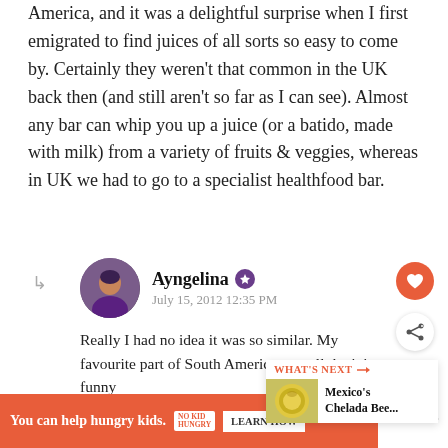America, and it was a delightful surprise when I first emigrated to find juices of all sorts so easy to come by. Certainly they weren't that common in the UK back then (and still aren't so far as I can see). Almost any bar can whip you up a juice (or a batido, made with milk) from a variety of fruits & veggies, whereas in UK we had to go to a specialist healthfood bar.
Ayngelina — July 15, 2012 12:35 PM — Really I had no idea it was so similar. My favourite part of South America was all the juice, funny to pay 10 times more for it here.
[Figure (other): WHAT'S NEXT panel showing Mexico's Chelada Bee... with a circular food image]
You can help hungry kids. NO KID HUNGRY LEARN HOW